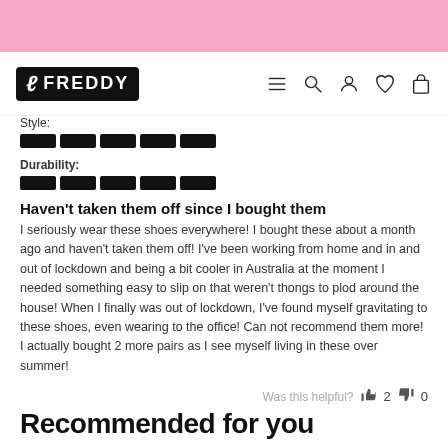[Figure (logo): Freddy brand logo — white leaf icon and FREDDY text on black background, plus navigation icons (hamburger menu, search, account, heart, bag)]
Style:
[Figure (other): 5 black rating blocks for Style]
Durability:
[Figure (other): 5 black rating blocks for Durability]
Haven't taken them off since I bought them
I seriously wear these shoes everywhere! I bought these about a month ago and haven't taken them off! I've been working from home and in and out of lockdown and being a bit cooler in Australia at the moment I needed something easy to slip on that weren't thongs to plod around the house! When I finally was out of lockdown, I've found myself gravitating to these shoes, even wearing to the office! Can not recommend them more! I actually bought 2 more pairs as I see myself living in these over summer!
Was this helpful? 2 0
Recommended for you